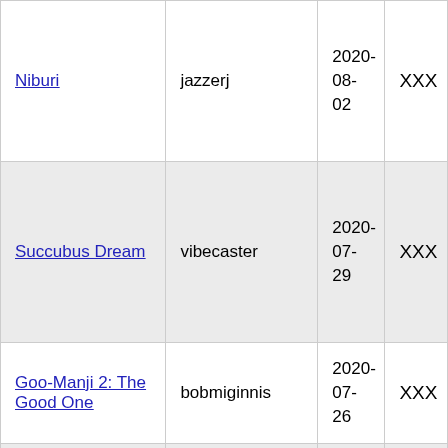| Niburi | jazzerj | 2020-08-02 | XXX |
| Succubus Dream | vibecaster | 2020-07-29 | XXX |
| Goo-Manji 2: The Good One | bobmiginnis | 2020-07-26 | XXX |
|  |  | 2020- |  |